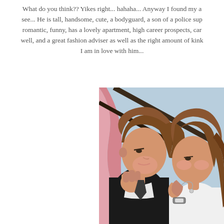What do you think?? Yikes right... hahaha... Anyway I found my a see... He is tall, handsome, cute, a bodyguard, a son of a police sup romantic, funny, has a lovely apartment, high career prospects, car well, and a great fashion adviser as well as the right amount of kink I am in love with him...
[Figure (illustration): Manga/webtoon style illustration of two characters in a romantic close-up scene. A brown-haired male character leans toward a brown-haired female character, faces nearly touching, with a pink/light background suggesting a romantic moment. Both characters are drawn in Korean webtoon art style.]